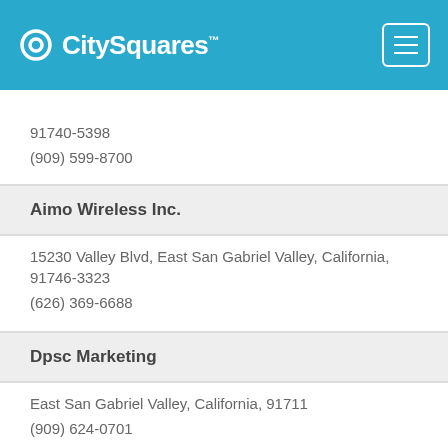[Figure (logo): CitySquares logo with icon on teal/blue header bar with hamburger menu button]
91740-5398
(909) 599-8700
Aimo Wireless Inc.
15230 Valley Blvd, East San Gabriel Valley, California, 91746-3323
(626) 369-6688
Dpsc Marketing
East San Gabriel Valley, California, 91711
(909) 624-0701
General Marketing Corp